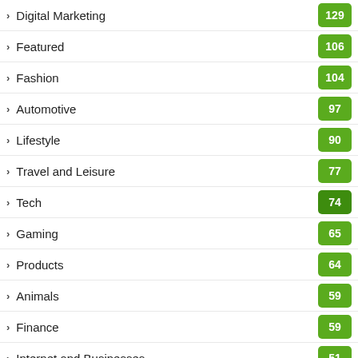Digital Marketing
Featured
Fashion
Automotive
Lifestyle
Travel and Leisure
Tech
Gaming
Products
Animals
Finance
Internet and Businesses
Arts and Entertainment
Real Estate
Food and Drink